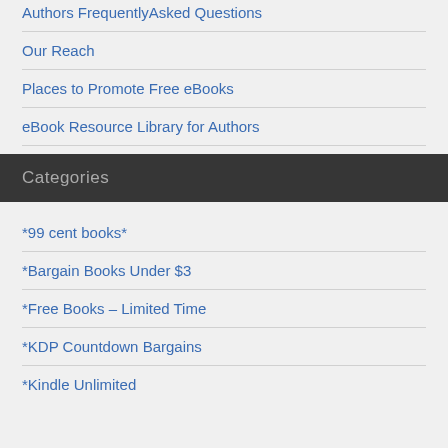Authors FrequentlyAsked Questions
Our Reach
Places to Promote Free eBooks
eBook Resource Library for Authors
Categories
*99 cent books*
*Bargain Books Under $3
*Free Books – Limited Time
*KDP Countdown Bargains
*Kindle Unlimited